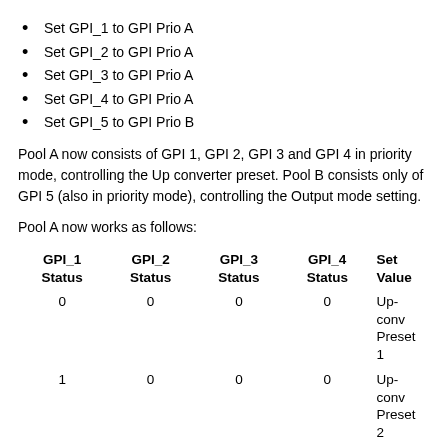Set GPI_1 to GPI Prio A
Set GPI_2 to GPI Prio A
Set GPI_3 to GPI Prio A
Set GPI_4 to GPI Prio A
Set GPI_5 to GPI Prio B
Pool A now consists of GPI 1, GPI 2, GPI 3 and GPI 4 in priority mode, controlling the Up converter preset. Pool B consists only of GPI 5 (also in priority mode), controlling the Output mode setting.
Pool A now works as follows:
| GPI_1 Status | GPI_2 Status | GPI_3 Status | GPI_4 Status | Set Value |
| --- | --- | --- | --- | --- |
| 0 | 0 | 0 | 0 | Up-conv Preset 1 |
| 1 | 0 | 0 | 0 | Up-conv Preset 2 |
| 0 | 1 | 0 | 0 | Up-conv Preset 3 |
| 0 | 0 | 1 | 0 | Up-conv Preset 4 |
| 0 | 0 | 0 | 1 | Up-conv Preset 5 |